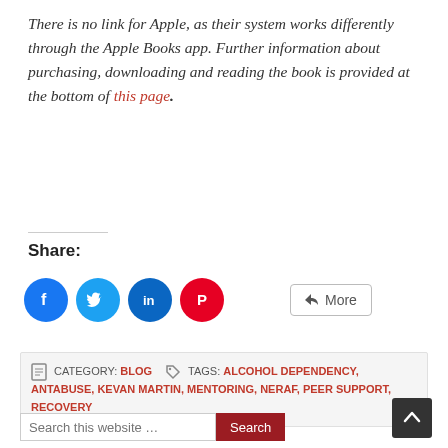There is no link for Apple, as their system works differently through the Apple Books app. Further information about purchasing, downloading and reading the book is provided at the bottom of this page.
Share:
[Figure (infographic): Social share buttons: Facebook (blue circle), Twitter (blue circle), LinkedIn (dark blue circle), Pinterest (red circle), and a More button]
CATEGORY: BLOG   TAGS: ALCOHOL DEPENDENCY, ANTABUSE, KEVAN MARTIN, MENTORING, NERAF, PEER SUPPORT, RECOVERY
Search this website …